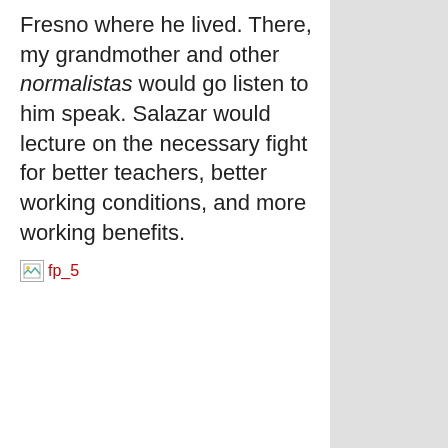Fresno where he lived. There, my grandmother and other normalistas would go listen to him speak. Salazar would lecture on the necessary fight for better teachers, better working conditions, and more working benefits.
[Figure (photo): Broken image placeholder labeled fp_5]